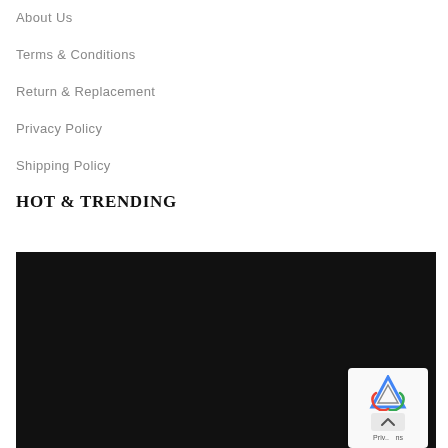About Us
Terms & Conditions
Return & Replacement
Privacy Policy
Shipping Policy
HOT & TRENDING
[Figure (photo): Dark/black rectangular image block below HOT & TRENDING section header]